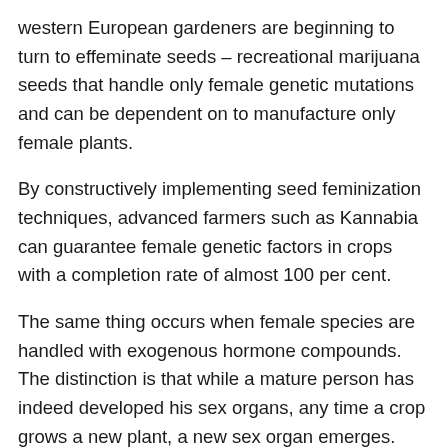western European gardeners are beginning to turn to effeminate seeds – recreational marijuana seeds that handle only female genetic mutations and can be dependent on to manufacture only female plants.
By constructively implementing seed feminization techniques, advanced farmers such as Kannabia can guarantee female genetic factors in crops with a completion rate of almost 100 per cent.
The same thing occurs when female species are handled with exogenous hormone compounds. The distinction is that while a mature person has indeed developed his sex organs, any time a crop grows a new plant, a new sex organ emerges. Crops undergoing chemical control produce healthy male seeds, even if the crop is indeed a feminine of x Chromosomes, the sediment incl [Chat] male genetic material